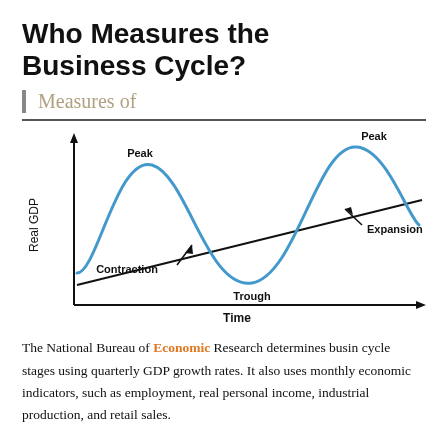Who Measures the Business Cycle?
Measures of
[Figure (continuous-plot): Business cycle diagram showing Real GDP on y-axis, Time on x-axis. A blue sinusoidal wave curves up and down showing economic phases. A straight diagonal trend line rises across the chart. Labels mark: Peak (first wave top), Contraction (downslope), Trough (wave bottom), Expansion (second wave upslope), Peak (second wave top).]
The National Bureau of Economic Research determines business cycle stages using quarterly GDP growth rates. It also uses monthly economic indicators, such as employment, real personal income, industrial production, and retail sales.